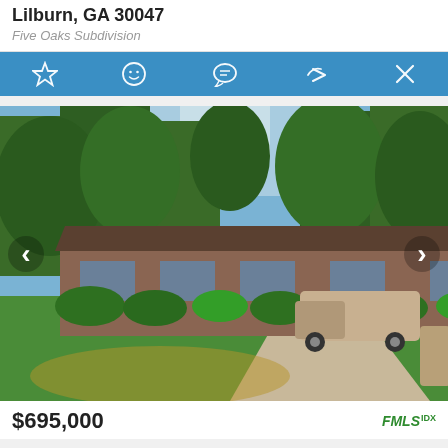Lilburn, GA 30047
Five Oaks Subdivision
[Figure (other): Toolbar with icons: star (favorite), smiley face, chat bubble, share arrow, and X (close) on a blue background]
[Figure (photo): Exterior photo of a single-story brick ranch house with brown roof, green lawn, shrubs, a concrete driveway with a pickup truck parked in it, and trees in the background. Navigation arrows on left and right sides of photo.]
$695,000
FMLS IDX